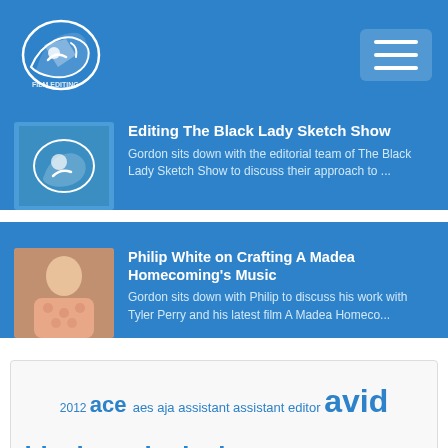Navigation bar with logo and hamburger menu
Editing The Black Lady Sketch Show
Gordon sits down with the editorial team of The Black Lady Sketch Show to discuss their approach to ...
Philip White on Crafting A Madea Homecoming's Music
Gordon sits down with Philip to discuss his work with Tyler Perry and his latest film A Madea Homeco...
2012 ace aes aja assistant assistant editor avid blackmagic design bordwell chasing mavericks cloud atlas constructive craig mckay david mitchell editing editing chasing mavericks editor election encoding eric brodeur fcpx high frame rate john gilbert labor lady and the tramp lisa bromwell media memory card mpeg